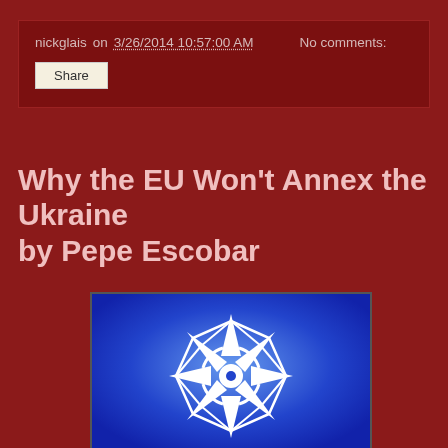nickglais on 3/26/2014 10:57:00 AM    No comments:
Share
Why the EU Won't Annex the Ukraine by Pepe Escobar
[Figure (logo): NATO logo stylized on blue gradient background — white geometric star/compass rose shape]